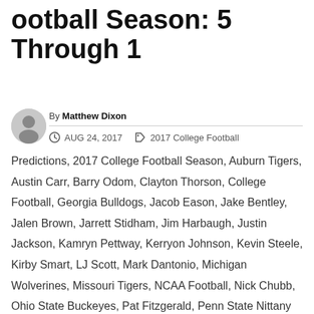ootball Season: 5 Through 1
By Matthew Dixon
AUG 24, 2017  2017 College Football Predictions, 2017 College Football Season, Auburn Tigers, Austin Carr, Barry Odom, Clayton Thorson, College Football, Georgia Bulldogs, Jacob Eason, Jake Bentley, Jalen Brown, Jarrett Stidham, Jim Harbaugh, Justin Jackson, Kamryn Pettway, Kerryon Johnson, Kevin Steele, Kirby Smart, LJ Scott, Mark Dantonio, Michigan Wolverines, Missouri Tigers, NCAA Football, Nick Chubb, Ohio State Buckeyes, Pat Fitzgerald, Penn State Nittany Lions, RJ Shelton, Saquon Barkley, Sony Michel